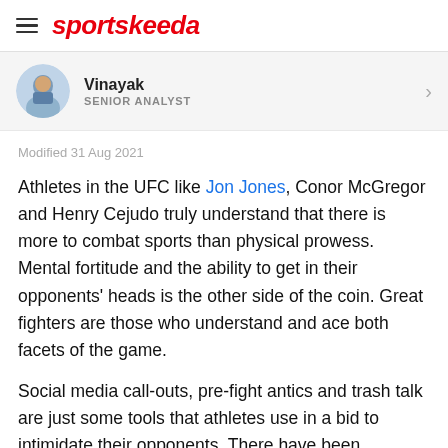sportskeeda
[Figure (photo): Circular avatar photo of author Vinayak, a person in sports attire]
Vinayak
SENIOR ANALYST
Modified 31 Aug 2021
Athletes in the UFC like Jon Jones, Conor McGregor and Henry Cejudo truly understand that there is more to combat sports than physical prowess. Mental fortitude and the ability to get in their opponents' heads is the other side of the coin. Great fighters are those who understand and ace both facets of the game.
Social media call-outs, pre-fight antics and trash talk are just some tools that athletes use in a bid to intimidate their opponents. There have been instances when fighters have